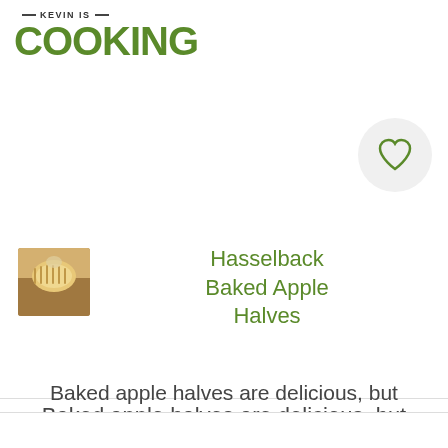KEVIN IS COOKING
them in yesterday's...
[Figure (photo): Thumbnail photo of hasselback baked apple halves dish]
Hasselback Baked Apple Halves
Baked apple halves are delicious, but cinnamon streusel stuffed baked apples are even better! Make...